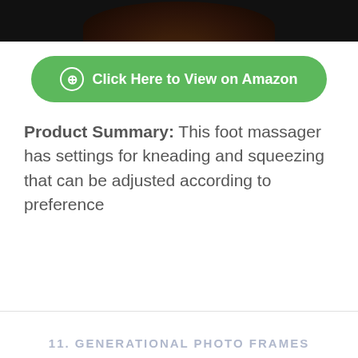[Figure (photo): Partial top view of a dark-colored foot massager product image, cropped at the top of the page.]
[Figure (other): Green rounded button reading '⊕ Click Here to View on Amazon']
Product Summary: This foot massager has settings for kneading and squeezing that can be adjusted according to preference
11. GENERATIONAL PHOTO FRAMES